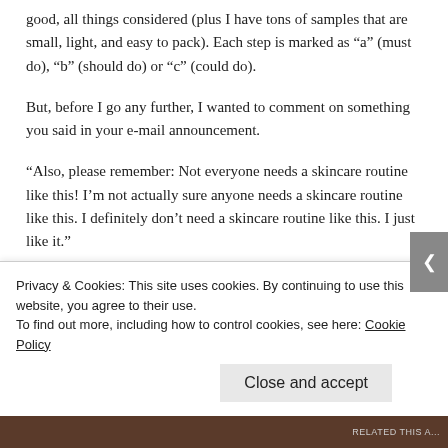good, all things considered (plus I have tons of samples that are small, light, and easy to pack). Each step is marked as “a” (must do), “b” (should do) or “c” (could do).
But, before I go any further, I wanted to comment on something you said in your e-mail announcement.
“Also, please remember: Not everyone needs a skincare routine like this! I’m not actually sure anyone needs a skincare routine like this. I definitely don’t need a skincare routine like this. I just like it.”
I like your SC routines a lot. I very much admire them (and you)! When I grow up, I want to have SC
Privacy & Cookies: This site uses cookies. By continuing to use this website, you agree to their use.
To find out more, including how to control cookies, see here: Cookie Policy
Close and accept